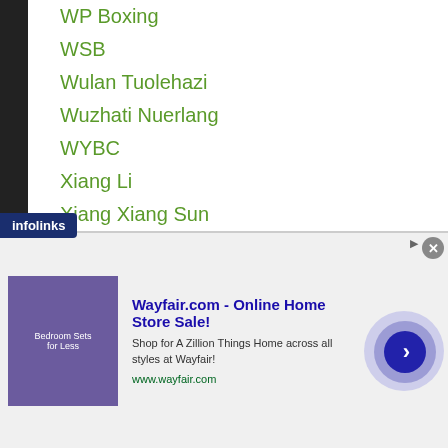WP Boxing
WSB
Wulan Tuolehazi
Wuzhati Nuerlang
WYBC
Xiang Li
Xiang Xiang Sun
Xian Qian Wei
Xiaolu Mou
Xiao Tao Su
Xinghua Wang
Xing Xin Yang
Xiong Zhao Zhong
Xu Can
Xu Chan
...s-heluka
[Figure (other): Wayfair advertisement banner with infolinks badge showing bedroom furniture sale]